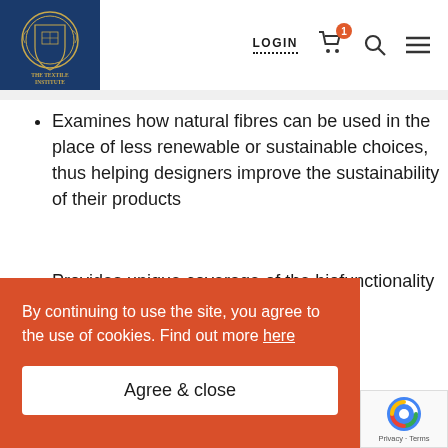THE TEXTILE INSTITUTE — LOGIN, Cart, Search, Menu
Examines how natural fibres can be used in the place of less renewable or sustainable choices, thus helping designers improve the sustainability of their products
Provides unique coverage of the biofunctionality of biopolymers in textiles
Explains how antimicrobial properties can reduce odour, extend the life of textiles, and
By continuing to use the site, you agree to the use of cookies. Find out more here
Agree & close